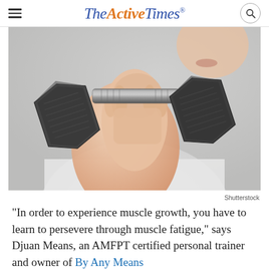TheActiveTimes
[Figure (photo): Close-up photo of a person holding a dumbbell up near their shoulder/chest, viewed from close range. The person's hand grips a heavy metal hex dumbbell. Background is light gray/white.]
Shutterstock
“In order to experience muscle growth, you have to learn to persevere through muscle fatigue,” says Djuan Means, an AMFPT certified personal trainer and owner of By Any Means